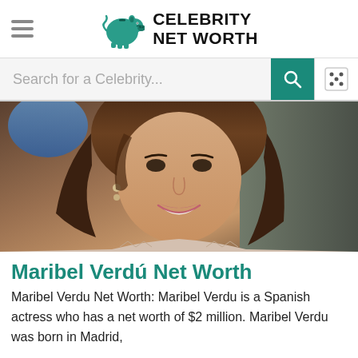Celebrity Net Worth
Search for a Celebrity...
[Figure (photo): Close-up photo of Maribel Verdú, a woman with shoulder-length brown hair, smiling, wearing a patterned top and drop earrings]
Maribel Verdú Net Worth
Maribel Verdu Net Worth: Maribel Verdu is a Spanish actress who has a net worth of $2 million. Maribel Verdu was born in Madrid,